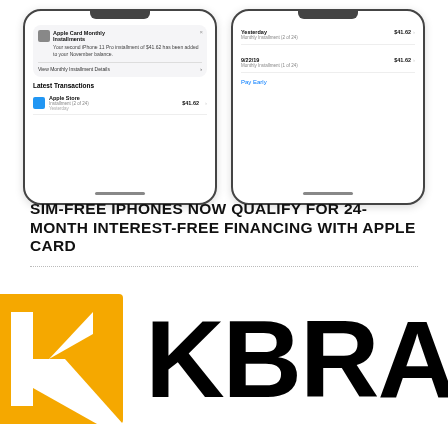[Figure (screenshot): Two iPhone screenshots showing Apple Card Monthly Installments interface. Left phone shows a notification about iPhone 11 Pro installment of $41.62 added to November balance, and Latest Transactions section showing Apple Store $41.62 installment (2 of 24). Right phone shows installment history with Yesterday $41.62 (Monthly Installment 2 of 24), 9/22/19 $41.62 (Monthly Installment 1 of 24), and a Pay Early button.]
SIM-FREE IPHONES NOW QUALIFY FOR 24-MONTH INTEREST-FREE FINANCING WITH APPLE CARD
[Figure (logo): KBRA logo — yellow/gold geometric K-shaped arrow icon on left, followed by bold black text 'KBRA']